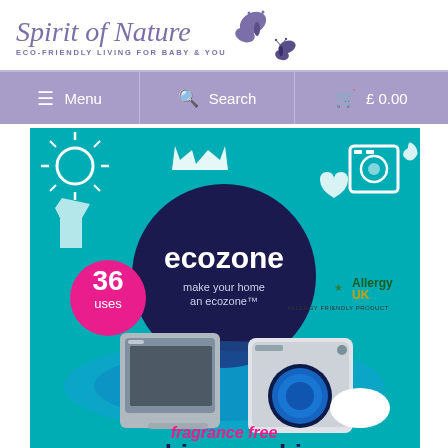Spirit of Nature — ECO-FRIENDLY LIVING FOR BABY & YOU
[Figure (screenshot): Navigation bar with Menu, Search, and £0.00 cart options on purple background]
[Figure (photo): Ecozone washing machine cleaner product packaging — teal background with white icons, large dark navy circle with 'ecozone make your home an ecozone' text, pink circle '36 uses', AllergyUK logo, dishwasher and washing machine images, white tablet, text 'fragrance free washing machine' in pink and dark blue]